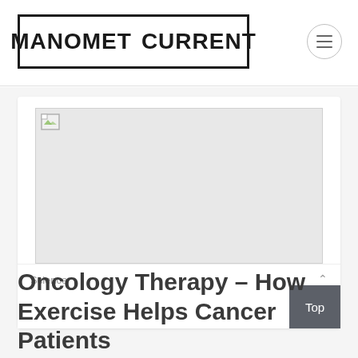MANOMET CURRENT
[Figure (photo): Broken/unloaded image placeholder with a small broken image icon in top-left corner, large light gray rectangle area]
Science
Oncology Therapy – How Exercise Helps Cancer Patients